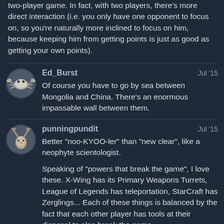two-player game. In fact, with two players, there's more direct interaction (i.e. you only have one opponent to focus on, so you're naturally more inclined to focus on him, because keeping him from getting points is just as good as getting your own points).
Ed_Burst — Jul '15
Of course you have to go by sea between Mongolia and China. There's an enormous impassable wall between them.
punningpundit — Jul '15
Better "noo-KYOO-ler" than "new clear", like a neophyte scientologist.

Speaking of "powers that break the game", I love these. X-Wing has its Primary Weapons Turrets, League of Legends has teleportation, StarCraft has Zerglings... Each of these things is balanced by the fact that each other player has tools at their disposal to also break the game.